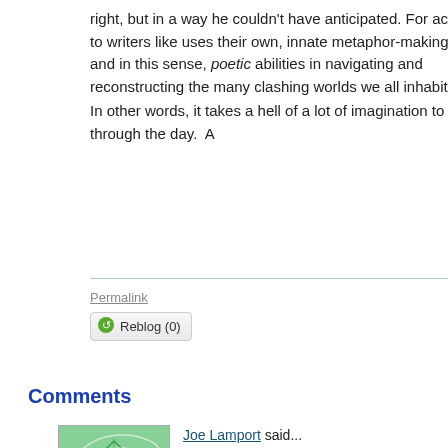right, but in a way he couldn't have anticipated. For according to writers like uses their own, innate metaphor-making and, and in this sense, poetic abilities in navigating and reconstructing the many clashing worlds we all inhabit.
In other words, it takes a hell of a lot of imagination to get through the day. A
Permalink
Reblog (0)
Comments
Joe Lamport said...
Great post Jerome. Kind of like saying that each of us
It sounds to me like the riddle didn't originate with Koe... Rinzai or Soto koan perhaps
Reply
Jerome Sala said...
Thanks! Your comment has me wondering what these scholars would do with other Koans. Could be fascinc...